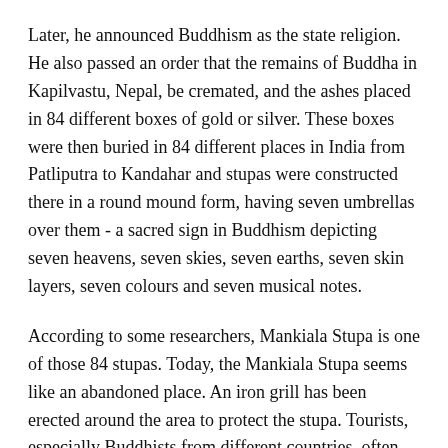Later, he announced Buddhism as the state religion. He also passed an order that the remains of Buddha in Kapilvastu, Nepal, be cremated, and the ashes placed in 84 different boxes of gold or silver. These boxes were then buried in 84 different places in India from Patliputra to Kandahar and stupas were constructed there in a round mound form, having seven umbrellas over them - a sacred sign in Buddhism depicting seven heavens, seven skies, seven earths, seven skin layers, seven colours and seven musical notes.
According to some researchers, Mankiala Stupa is one of those 84 stupas. Today, the Mankiala Stupa seems like an abandoned place. An iron grill has been erected around the area to protect the stupa. Tourists, especially Buddhists from different countries, often visit the place.
The stupa is in a bad shape due to negligence and desperately